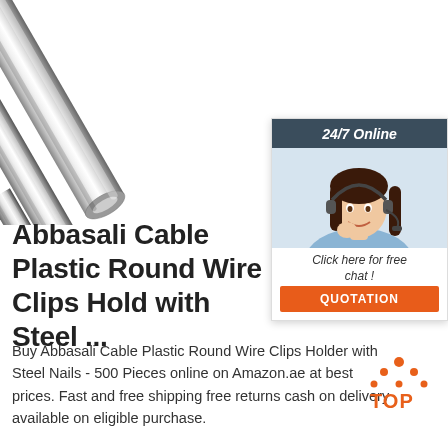[Figure (photo): Multiple shiny stainless steel cylindrical rods/bars arranged diagonally on white background, with one small rod in the lower right area]
[Figure (infographic): Chat widget: dark teal header '24/7 Online', photo of female customer service agent with headset, 'Click here for free chat!' text, orange QUOTATION button]
Abbasali Cable Plastic Round Wire Clips Hold with Steel ...
Buy Abbasali Cable Plastic Round Wire Clips Holder with Steel Nails - 500 Pieces online on Amazon.ae at best prices. Fast and free shipping free returns cash on delivery available on eligible purchase.
[Figure (logo): TOP logo: orange dots arranged in triangle with orange TOP text]